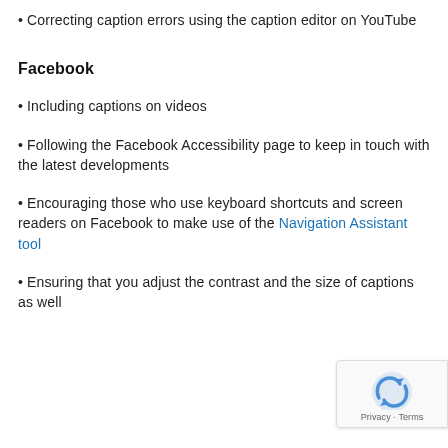Correcting caption errors using the caption editor on YouTube
Facebook
Including captions on videos
Following the Facebook Accessibility page to keep in touch with the latest developments
Encouraging those who use keyboard shortcuts and screen readers on Facebook to make use of the Navigation Assistant tool
Ensuring that you adjust the contrast and the size of captions as well